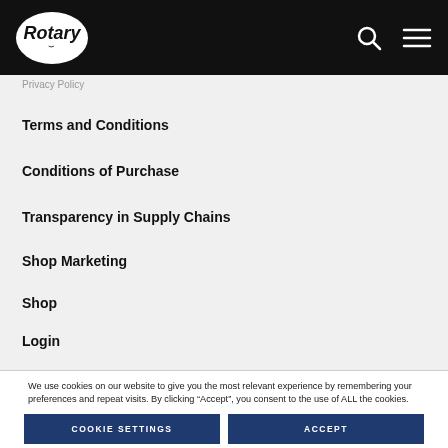Rotary logo with search and menu icons
Privacy Policy
Terms and Conditions
Conditions of Purchase
Transparency in Supply Chains
Shop Marketing
Shop
Login
We use cookies on our website to give you the most relevant experience by remembering your preferences and repeat visits. By clicking “Accept”, you consent to the use of ALL the cookies.
COOKIE SETTINGS
ACCEPT